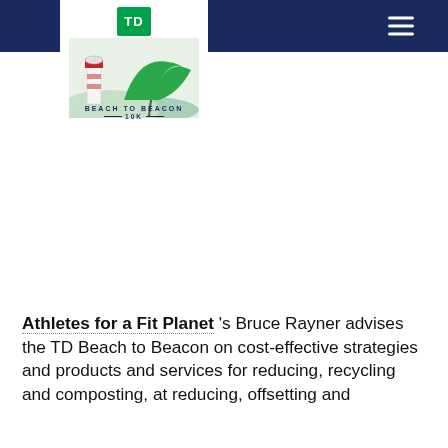TD Beach to Beacon 10K — navigation header
[Figure (logo): TD Bank logo (green box with TD text) above a Beach to Beacon 10K race logo featuring a lighthouse and green wave/umbrella imagery]
Athletes for a Fit Planet 's Bruce Rayner advises the TD Beach to Beacon on cost-effective strategies and products and services for reducing, recycling and composting, at reducing, offsetting and...